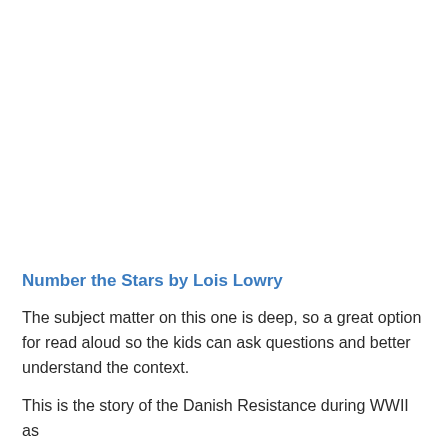Number the Stars by Lois Lowry
The subject matter on this one is deep, so a great option for read aloud so the kids can ask questions and better understand the context.
This is the story of the Danish Resistance during WWII as they successfulyl smuggle almost the entire Jewish population of Denmark into safety in Sweden.  The story is